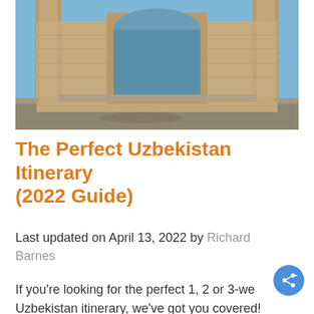[Figure (photo): Photograph of a grand Islamic architecture building — ornate façade with a large arched entrance, decorative tilework, and tall minarets, with a large paved plaza in the foreground and blue sky above. Likely the Registan in Samarkand, Uzbekistan.]
The Perfect Uzbekistan Itinerary (2022 Guide)
Last updated on April 13, 2022 by Richard Barnes
If you're looking for the perfect 1, 2 or 3-we Uzbekistan itinerary, we've got you covered!